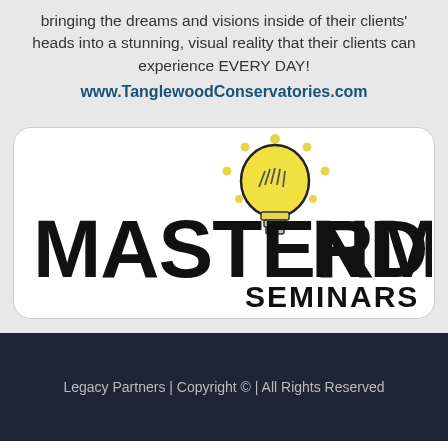bringing the dreams and visions inside of their clients' heads into a stunning, visual reality that their clients can experience EVERY DAY!
www.TanglewoodConservatories.com
[Figure (logo): Mastermind Seminars logo: large bold black text 'MASTERMIND' with a lightbulb replacing the letter 'I', and 'SEMINARS' in bold black below on the right side, on a white rounded rectangle background.]
Legacy Partners | Copyright © | All Rights Reserved